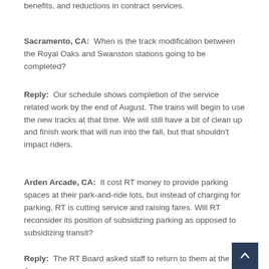benefits, and reductions in contract services.
Sacramento, CA:  When is the track modification between the Royal Oaks and Swanston stations going to be completed?
Reply:  Our schedule shows completion of the service related work by the end of August. The trains will begin to use the new tracks at that time. We will still have a bit of clean up and finish work that will run into the fall, but that shouldn't impact riders.
Arden Arcade, CA:  It cost RT money to provide parking spaces at their park-and-ride lots, but instead of charging for parking, RT is cutting service and raising fares. Will RT reconsider its position of subsidizing parking as opposed to subsidizing transit?
Reply:  The RT Board asked staff to return to them at the June